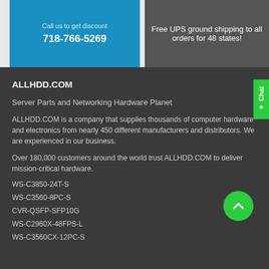Call us to get discount
718-766-5269
Free UPS ground shipping to all orders for 48 states!
ALLHDD.COM
Server Parts and Networking Hardware Planet
ALLHDD.COM is a company that supplies thousands of computer hardware and electronics from nearly 450 different manufacturers and distributors. We are experienced in our business.
Over 180,000 customers around the world trust ALLHDD.COM to deliver mission-critical hardware.
WS-C3850-24T-S
WS-C3560-8PC-S
CVR-QSFP-SFP10G
WS-C2960X-48FPS-L
WS-C3560CX-12PC-S